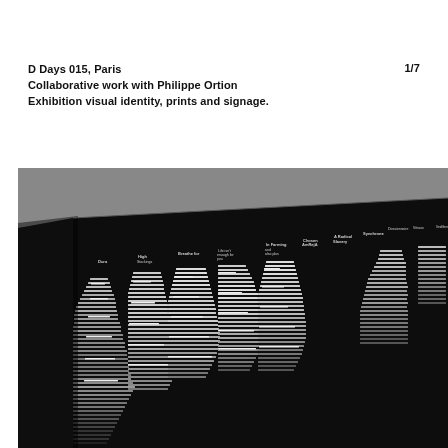D Days 015, Paris
Collaborative work with Philippe Ortion
Exhibition visual identity, prints and signage.
1/7
[Figure (photo): Black and white photograph of a large exhibition poster/print displayed at an angle on a dark background. The poster is black with white typographic text arranged in vertical columns, showing exhibition schedules or program listings. The perspective view shows the poster tilted, with text columns visible across the surface.]